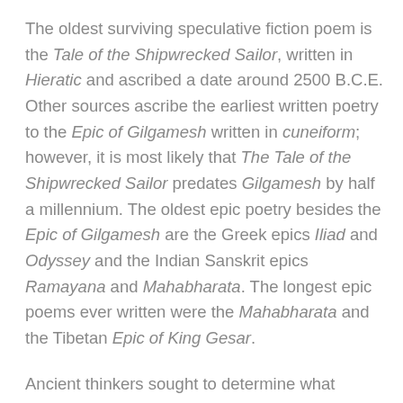The oldest surviving speculative fiction poem is the Tale of the Shipwrecked Sailor, written in Hieratic and ascribed a date around 2500 B.C.E. Other sources ascribe the earliest written poetry to the Epic of Gilgamesh written in cuneiform; however, it is most likely that The Tale of the Shipwrecked Sailor predates Gilgamesh by half a millennium. The oldest epic poetry besides the Epic of Gilgamesh are the Greek epics Iliad and Odyssey and the Indian Sanskrit epics Ramayana and Mahabharata. The longest epic poems ever written were the Mahabharata and the Tibetan Epic of King Gesar.
Ancient thinkers sought to determine what makes poetry distinctive as a form and what distinguishes good poetry from bad, resulting in the development of "poetics", or the study of the aesthetics of poetry. Some ancient societies, such as the Chinese through the Classic of History, one of the Five Classics, developed canons of poetic works that